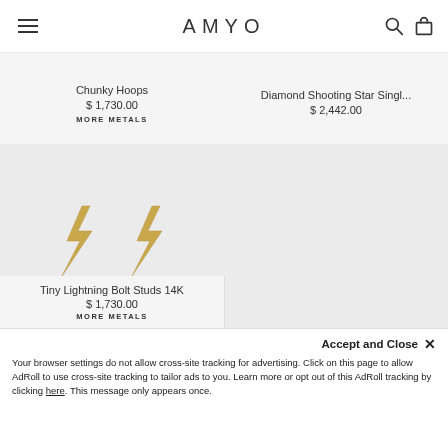AMYO
Chunky Hoops
$ 1,730.00
MORE METALS
Diamond Shooting Star Singl...
$ 2,442.00
[Figure (photo): Two gold tiny lightning bolt stud earrings on light grey background]
Tiny Lightning Bolt Studs 14K
$ 1,730.00
MORE METALS
Accept and Close ✕
Your browser settings do not allow cross-site tracking for advertising. Click on this page to allow AdRoll to use cross-site tracking to tailor ads to you. Learn more or opt out of this AdRoll tracking by clicking here. This message only appears once.